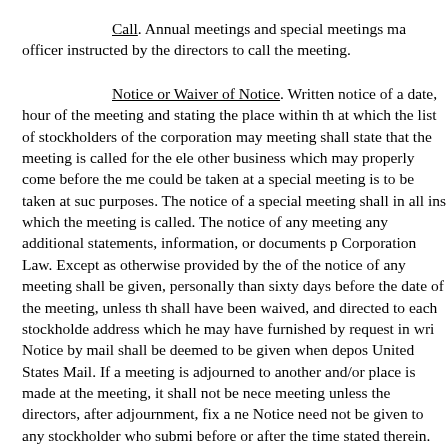Call. Annual meetings and special meetings ma officer instructed by the directors to call the meeting.
Notice or Waiver of Notice. Written notice of a date, hour of the meeting and stating the place within th at which the list of stockholders of the corporation may meeting shall state that the meeting is called for the ele other business which may properly come before the me could be taken at a special meeting is to be taken at suc purposes. The notice of a special meeting shall in all ins which the meeting is called. The notice of any meeting any additional statements, information, or documents p Corporation Law. Except as otherwise provided by the of the notice of any meeting shall be given, personally than sixty days before the date of the meeting, unless th shall have been waived, and directed to each stockholde address which he may have furnished by request in wri Notice by mail shall be deemed to be given when depos United States Mail. If a meeting is adjourned to another and/or place is made at the meeting, it shall not be nece meeting unless the directors, after adjournment, fix a ne Notice need not be given to any stockholder who submi before or after the time stated therein. Attendance of a s shall constitute a waiver of notice of such meeting, exce meeting for the express purpose of objecting, at the beg